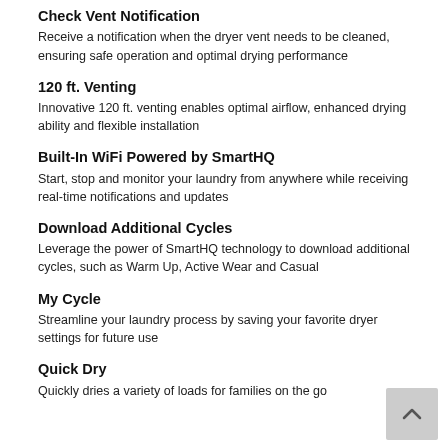Check Vent Notification
Receive a notification when the dryer vent needs to be cleaned, ensuring safe operation and optimal drying performance
120 ft. Venting
Innovative 120 ft. venting enables optimal airflow, enhanced drying ability and flexible installation
Built-In WiFi Powered by SmartHQ
Start, stop and monitor your laundry from anywhere while receiving real-time notifications and updates
Download Additional Cycles
Leverage the power of SmartHQ technology to download additional cycles, such as Warm Up, Active Wear and Casual
My Cycle
Streamline your laundry process by saving your favorite dryer settings for future use
Quick Dry
Quickly dries a variety of loads for families on the go